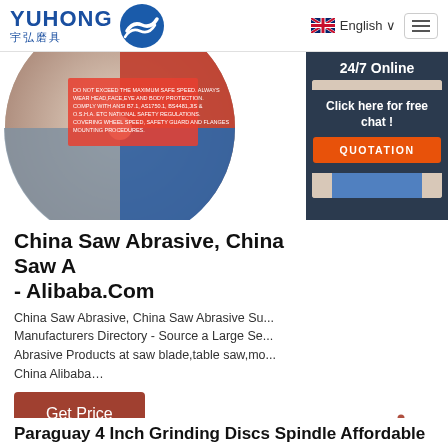[Figure (logo): Yuhong abrasives logo with Chinese characters 宇弘磨具 and blue wave icon]
English ∨
[Figure (photo): Abrasive grinding disc/wheel with red, blue and gray colors showing safety text]
[Figure (photo): 24/7 Online customer service agent - woman with headset smiling, with 'Click here for free chat!' and QUOTATION button]
China Saw Abrasive, China Saw A... - Alibaba.Com
China Saw Abrasive, China Saw Abrasive Su... Manufacturers Directory - Source a Large Se... Abrasive Products at saw blade,table saw,mo... China Alibaba…
Get Price
[Figure (infographic): TOP button with dotted triangle/arrow pointing up and text TOP]
Paraguay 4 Inch Grinding Discs Spindle Affordable